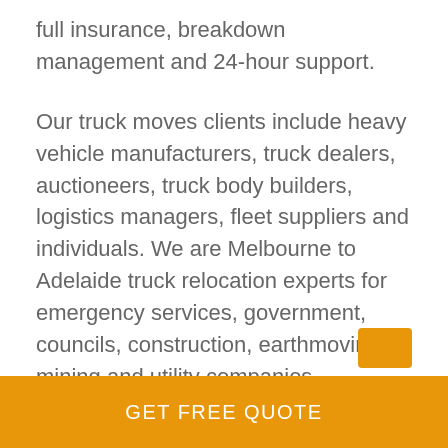full insurance, breakdown management and 24-hour support.
Our truck moves clients include heavy vehicle manufacturers, truck dealers, auctioneers, truck body builders, logistics managers, fleet suppliers and individuals. We are Melbourne to Adelaide truck relocation experts for emergency services, government, councils, construction, earthmoving, mining and utility companies.
We collect and deliver trucks from Melbourne (Victoria) to Sydney (New South Wales), Brisbane (Queensland), Perth (Western Australia), Adelaide (South Australia), Canberra (ACT), Darwin (NT) & Hobart (Tasmania).
GET FREE QUOTE